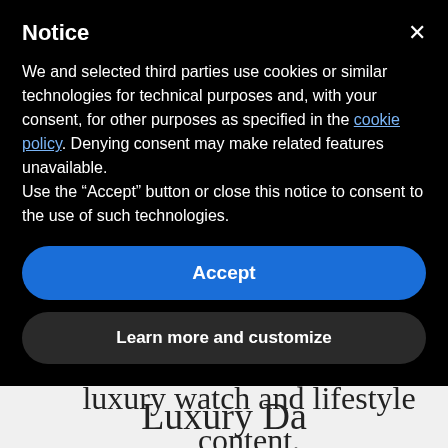Notice
We and selected third parties use cookies or similar technologies for technical purposes and, with your consent, for other purposes as specified in the cookie policy. Denying consent may make related features unavailable.
Use the “Accept” button or close this notice to consent to the use of such technologies.
Accept
Learn more and customize
entertaining (and maybe even a little educational) luxury watch and lifestyle content.
Luxury Da...